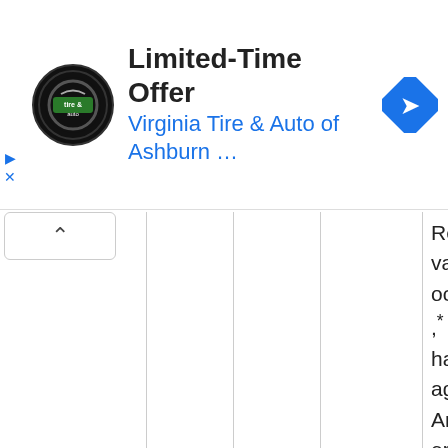[Figure (screenshot): Advertisement banner for Virginia Tire & Auto of Ashburn with logo, title 'Limited-Time Offer', blue subtitle, and navigation arrow icon]
|  |  |  | Lacrimation disorder, | Retinal vascular occlusion,* Retinal haemorrhage, Arteriosclerotic retinopathy, Retinal disorder, Glaucoma, |